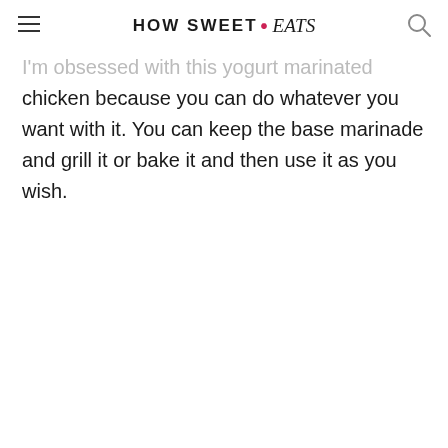HOW SWEET • eats
I'm obsessed with this yogurt marinated chicken because you can do whatever you want with it. You can keep the base marinade and grill it or bake it and then use it as you wish.